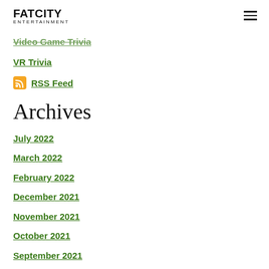Fat City Entertainment
Video Game Trivia
VR Trivia
RSS Feed
Archives
July 2022
March 2022
February 2022
December 2021
November 2021
October 2021
September 2021
March 2021